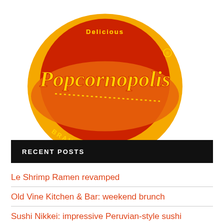[Figure (logo): Popcornopolis Brand Ambassador circular logo with orange and red color scheme, stylized script text 'Popcornopolis' and 'Delicious' at top, 'BRAND AMBASSADOR' around bottom arc]
RECENT POSTS
Le Shrimp Ramen revamped
Old Vine Kitchen & Bar: weekend brunch
Sushi Nikkei: impressive Peruvian-style sushi